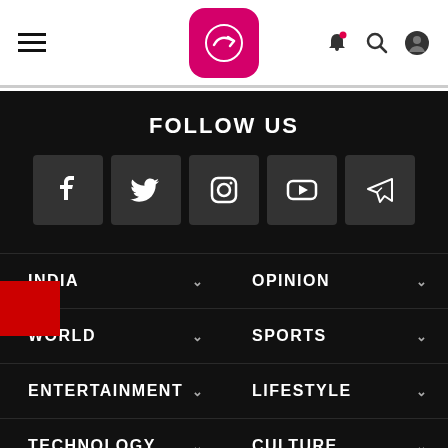Navigation header with hamburger menu, logo, bell icon, search icon, and user icon
FOLLOW US
[Figure (infographic): Five social media icon buttons: Facebook, Twitter, Instagram, YouTube, Telegram]
INDIA
OPINION
WORLD
SPORTS
ENTERTAINMENT
LIFESTYLE
TECHNOLOGY
CULTURE